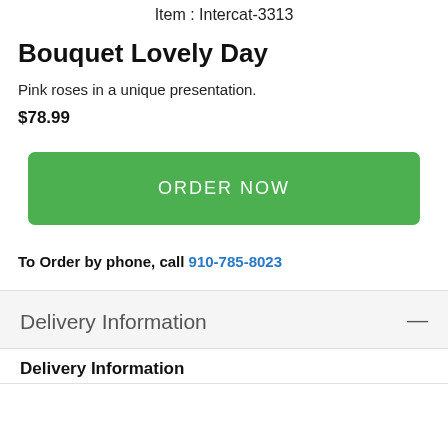Item : Intercat-3313
Bouquet Lovely Day
Pink roses in a unique presentation.
$78.99
ORDER NOW
To Order by phone, call 910-785-8023
Delivery Information
Delivery Information